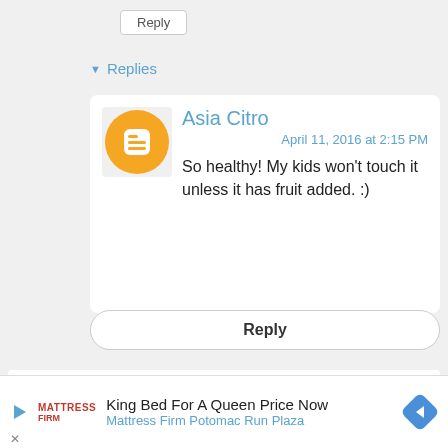Reply
▾ Replies
Asia Citro
April 11, 2016 at 2:15 PM
So healthy! My kids won't touch it unless it has fruit added. :)
Reply
May 18, 2016 at 5:16 PM
How do I keep the picture from going mouldy if its done with...
King Bed For A Queen Price Now
Mattress Firm Potomac Run Plaza